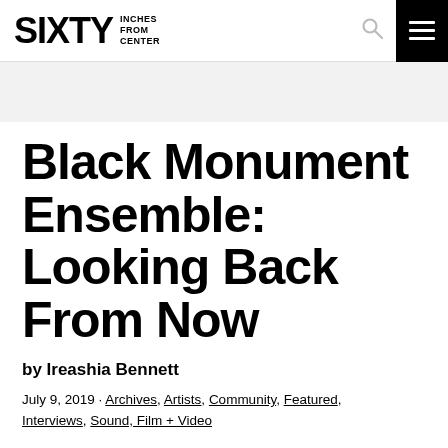SIXTY INCHES FROM CENTER
Black Monument Ensemble: Looking Back From Now
by Ireashia Bennett
July 9, 2019 · Archives, Artists, Community, Featured, Interviews, Sound, Film + Video
“Please join me in welcoming the Black